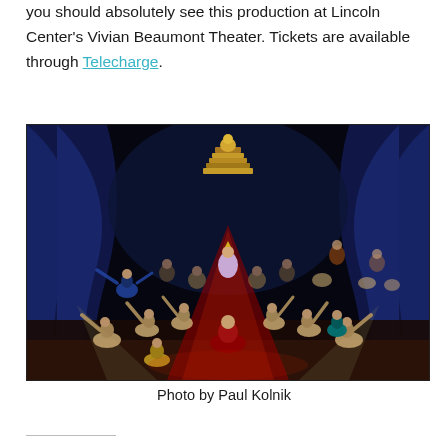you should absolutely see this production at Lincoln Center's Vivian Beaumont Theater. Tickets are available through Telecharge.
[Figure (photo): Theater production photo showing performers on stage with blue curtains, a tiered golden statue in background, and dancers in Southeast Asian costumes arranged around a central figure in red seated on the floor, with a red-lit runway extending toward the audience.]
Photo by Paul Kolnik